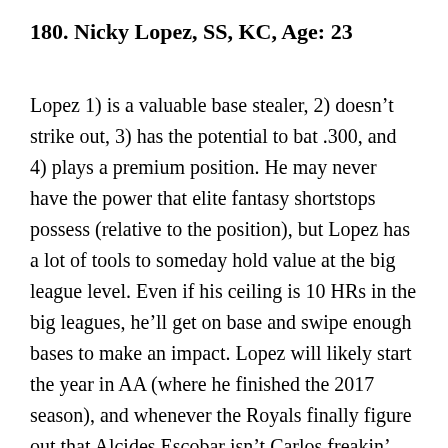180. Nicky Lopez, SS, KC, Age: 23
Lopez 1) is a valuable base stealer, 2) doesn't strike out, 3) has the potential to bat .300, and 4) plays a premium position. He may never have the power that elite fantasy shortstops possess (relative to the position), but Lopez has a lot of tools to someday hold value at the big league level. Even if his ceiling is 10 HRs in the big leagues, he'll get on base and swipe enough bases to make an impact. Lopez will likely start the year in AA (where he finished the 2017 season), and whenever the Royals finally figure out that Alcides Escobar isn't Carlos freakin'